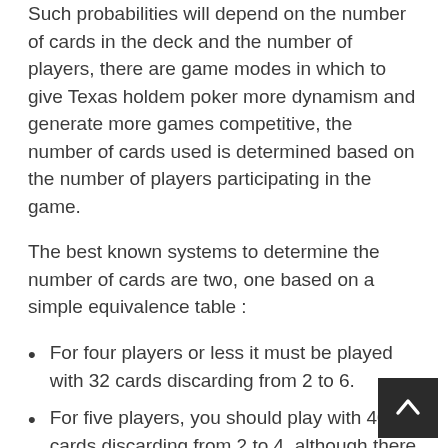Such probabilities will depend on the number of cards in the deck and the number of players, there are game modes in which to give Texas holdem poker more dynamism and generate more games competitive, the number of cards used is determined based on the number of players participating in the game.
The best known systems to determine the number of cards are two, one based on a simple equivalence table :
For four players or less it must be played with 32 cards discarding from 2 to 6.
For five players, you should play with 40 cards discarding from 2 to 4, although there are people who prefer to also discard the fives (5) and play only with 36 cards.
For six players you must play with 44 cards